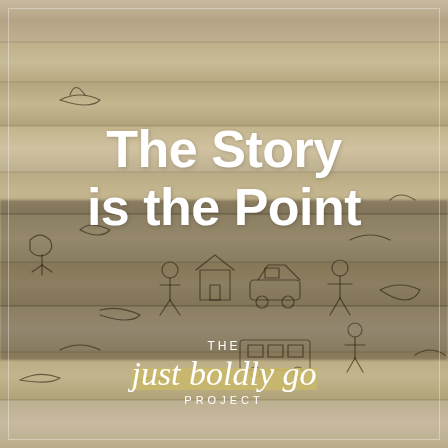[Figure (photo): Wooden plank background with child-like scribbles and drawings scratched into the wood surface. The wood has a weathered, aged appearance with horizontal plank lines.]
The Story is the Point
THE just boldly go PROJECT